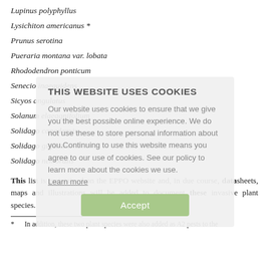Lupinus polyphyllus
Lysichiton americanus *
Prunus serotina
Pueraria montana var. lobata
Rhododendron ponticum
Senecio inaequidens
Sicyos angulatus
Solanum elaeagnifolium
Solidago canadensis
Solidago gigantea
Solidago nemoralis
This list is maintained on the EPPO website and, in due course, datasheets, maps and illustrations will be added to document these invasive plant species.
* In addition, these two plant species were also added as A2 pests to the
[Figure (screenshot): Cookie consent overlay showing 'THIS WEBSITE USES COOKIES' heading with message about cookie usage and an Accept button.]